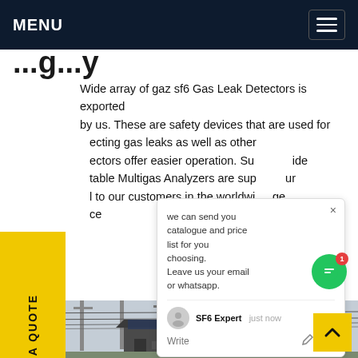MENU
...g...y...
Wide array of gaz sf6 Gas Leak Detectors is exported by us. These are safety devices that are used for detecting gas leaks as well as other... The detectors offer easier operation. Su...ide table Multigas Analyzers are sup...ur l to our customers in the worldwi...ge ce
[Figure (screenshot): Chat popup overlay showing message: 'we can send you catalogue and price list for you choosing. Leave us your email or whatsapp.' with SF6 Expert agent and 'just now' timestamp, Write field with like and attachment icons]
[Figure (photo): Outdoor electrical substation with transmission towers, high-voltage lines, and a small equipment building/kiosk in the foreground. Industrial setting with overhead wires and metal structures.]
REQUEST A QUOTE